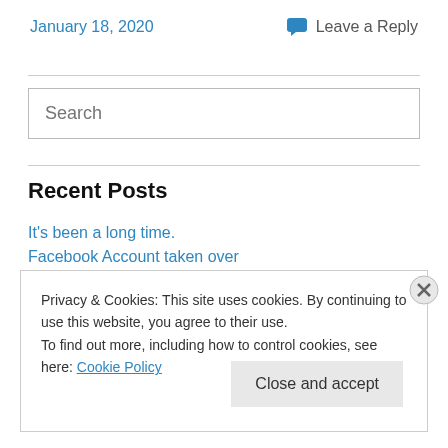January 18, 2020
Leave a Reply
[Figure (other): Search input box with placeholder text 'Search']
Recent Posts
It's been a long time.
Facebook Account taken over
Privacy & Cookies: This site uses cookies. By continuing to use this website, you agree to their use.
To find out more, including how to control cookies, see here: Cookie Policy
Close and accept